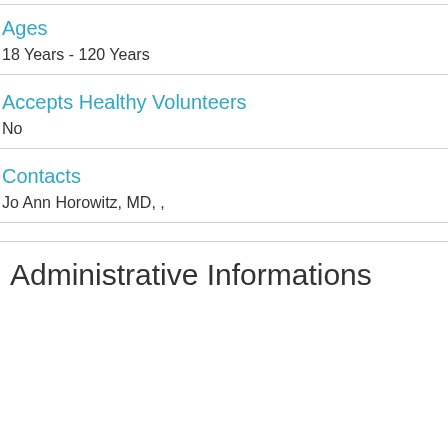Ages
18 Years - 120 Years
Accepts Healthy Volunteers
No
Contacts
Jo Ann Horowitz, MD, ,
Administrative Informations